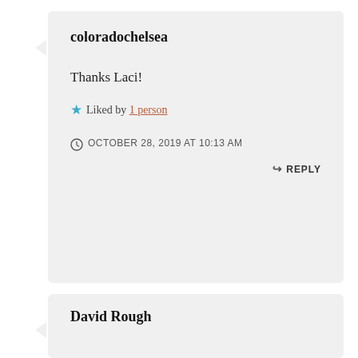coloradochelsea
Thanks Laci!
Liked by 1 person
OCTOBER 28, 2019 AT 10:13 AM
REPLY
David Rough